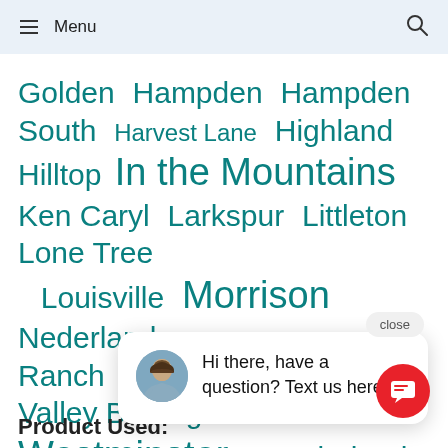Menu
Golden   Hampden   Hampden South   Harvest Lane   Highland   Hilltop   In the Mountains   Ken Caryl   Larkspur   Littleton   Lone Tree   Louisville   Morrison   Nederland   Ranch   Pa[rker]   Speer   Th[ornton]   Valley Barrington   Wash Park   Westminster   Wonderland Hills
Hi there, have a question? Text us here.
Product Used: